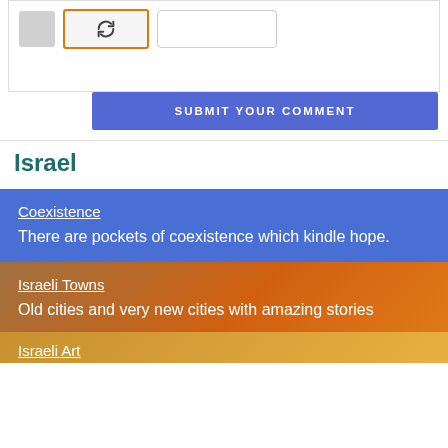[Figure (screenshot): CAPTCHA widget with reload button and input field]
SUBMIT YOUR COMMENT
Israel
Coexistence
There are pockets of coexistence which kindle hope.
Israeli Towns
Old cities and very new cities with amazing stories
Israeli Art